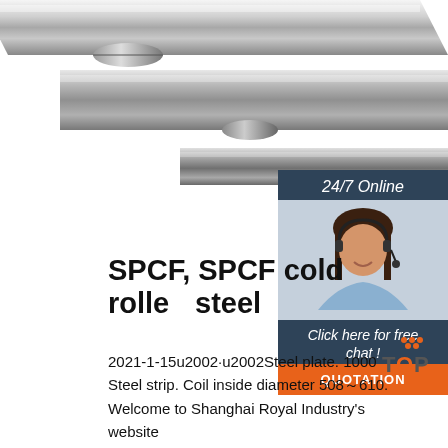[Figure (photo): Shiny steel rods/bars arranged diagonally on white background]
[Figure (infographic): 24/7 Online customer service widget with female agent photo, 'Click here for free chat!' text, and orange QUOTATION button]
SPCF, SPCF cold rolled steel
2021-1-15u2002·u2002Steel plate. 1000Steel strip. Coil inside diameter 508~610. Welcome to Shanghai Royal Industry's website www.sphc-steel.com to get more details about SPCF cold-rolled steel sheet for appliances, or you can directly contact our salesmen with the